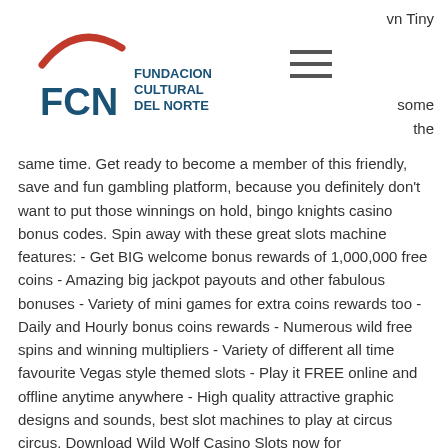[Figure (logo): FCN Fundacion Cultural del Norte logo with red arc swoosh above FCN text in teal/dark blue]
vn Tiny
some
the
same time. Get ready to become a member of this friendly, save and fun gambling platform, because you definitely don't want to put those winnings on hold, bingo knights casino bonus codes. Spin away with these great slots machine features: - Get BIG welcome bonus rewards of 1,000,000 free coins - Amazing big jackpot payouts and other fabulous bonuses - Variety of mini games for extra coins rewards too - Daily and Hourly bonus coins rewards - Numerous wild free spins and winning multipliers - Variety of different all time favourite Vegas style themed slots - Play it FREE online and offline anytime anywhere - High quality attractive graphic designs and sounds, best slot machines to play at circus circus. Download Wild Wolf Casino Slots now for